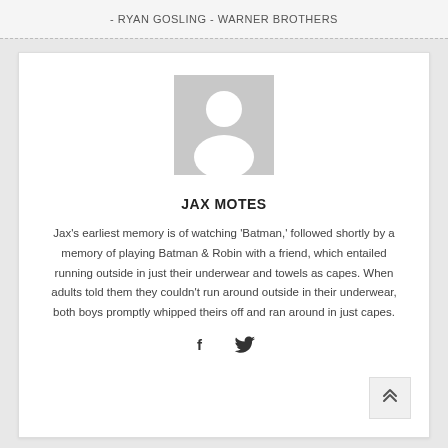- RYAN GOSLING - WARNER BROTHERS
[Figure (photo): Generic user avatar placeholder image — gray background with white silhouette of a person (head and shoulders)]
JAX MOTES
Jax's earliest memory is of watching 'Batman,' followed shortly by a memory of playing Batman & Robin with a friend, which entailed running outside in just their underwear and towels as capes. When adults told them they couldn't run around outside in their underwear, both boys promptly whipped theirs off and ran around in just capes.
[Figure (illustration): Social media icons: Facebook (f) and Twitter (bird) symbols]